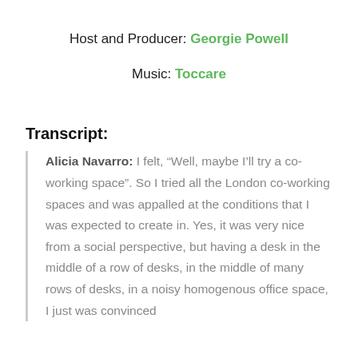Host and Producer: Georgie Powell
Music: Toccare
Transcript:
Alicia Navarro: I felt, “Well, maybe I’ll try a co-working space”. So I tried all the London co-working spaces and was appalled at the conditions that I was expected to create in. Yes, it was very nice from a social perspective, but having a desk in the middle of a row of desks, in the middle of many rows of desks, in a noisy homogenous office space, I just was convinced